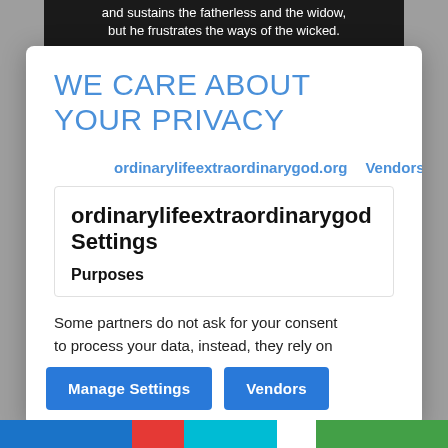and sustains the fatherless and the widow, but he frustrates the ways of the wicked.
WE CARE ABOUT YOUR PRIVACY
ordinarylifeextraordinarygod.org   Vendors
ordinarylifeextraordinarygod Settings
Purposes
Some partners do not ask for your consent to process your data, instead, they rely on
Manage Settings
Vendors